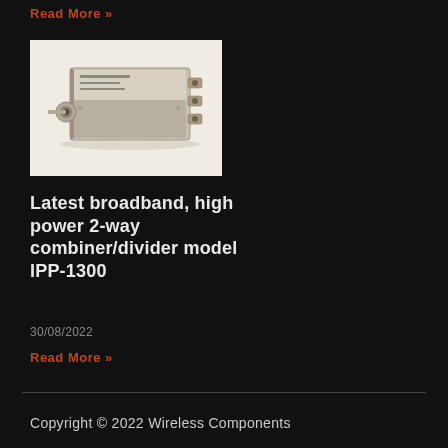Read More »
[Figure (photo): Photo of a broadband high power 2-way combiner/divider component (model IPP-1300), a metallic rectangular RF component with connectors]
Latest broadband, high power 2-way combiner/divider model IPP-1300
30/08/2022
Read More »
Copyright © 2022 Wireless Components